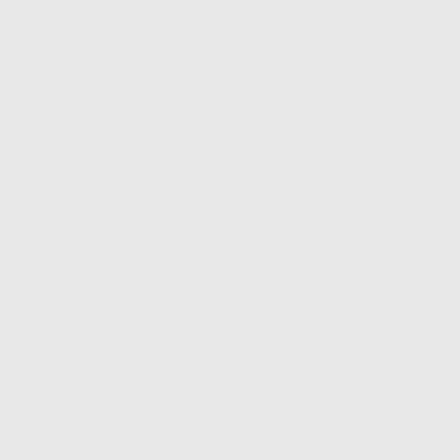We …
He … forg…
32 While a man tha… found him… to all the … not decla… to Moses, congregati… all the co… with ston… And the L… of Israel, garments the borde… you see h… LORD, a… and your … you may …